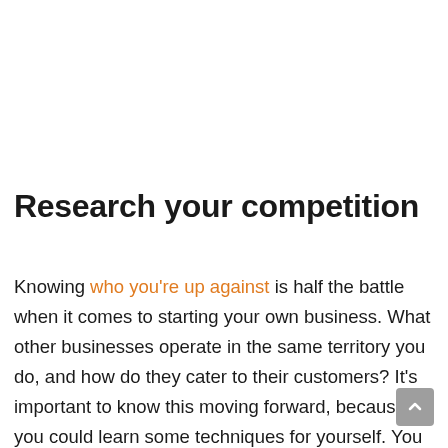Research your competition
Knowing who you're up against is half the battle when it comes to starting your own business. What other businesses operate in the same territory you do, and how do they cater to their customers? It's important to know this moving forward, because you could learn some techniques for yourself. You could also gain a greater understanding of where gaps in the market could lie. If your competitors aren't catering for a certain need within their customer base, then you could slip in